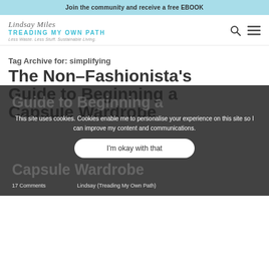Join the community and receive a free EBOOK
[Figure (logo): Lindsay Miles / Treading My Own Path logo with tagline: Less Waste. Less Stuff. Sustainable Living.]
Tag Archive for: simplifying
The Non-Fashionista's Guide to Beginning a Capsule Wardrobe
This site uses cookies. Cookies enable me to personalise your experience on this site so I can improve my content and communications.
I'm okay with that
17 Comments | Lindsay (Treading My Own Path)